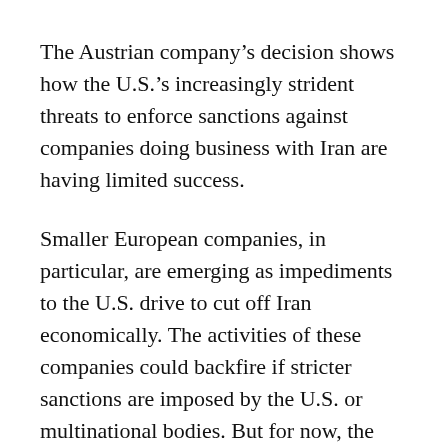The Austrian company's decision shows how the U.S.'s increasingly strident threats to enforce sanctions against companies doing business with Iran are having limited success.
Smaller European companies, in particular, are emerging as impediments to the U.S. drive to cut off Iran economically. The activities of these companies could backfire if stricter sanctions are imposed by the U.S. or multinational bodies. But for now, the chance to reap large profits is enough incentive for them to ignore U.S. threats of punishment.
“Any company with U.S. exposure is going to be beat over the head to shut these operations